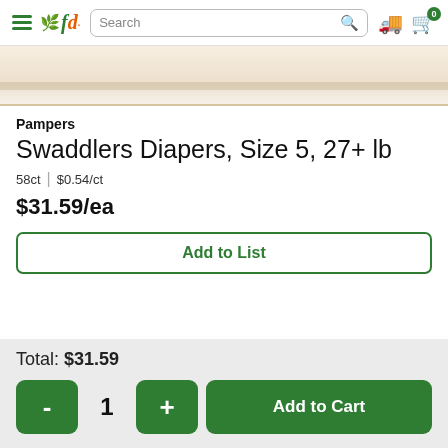fd Search [search icon] [truck icon] [cart icon: 0]
[Figure (photo): Partial product image of Pampers Swaddlers Diapers package, cropped view showing top portion of the box]
Pampers
Swaddlers Diapers, Size 5, 27+ lb
58ct | $0.54/ct
$31.59/ea
Add to List
Total: $31.59
- 1 + Add to Cart